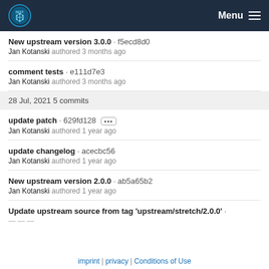BEST logo | Menu
New upstream version 3.0.0 · f5ecd8d0
Jan Kotanski authored 3 months ago
comment tests · e111d7e3
Jan Kotanski authored 3 months ago
28 Jul, 2021 5 commits
update patch · 629fd128 [...]
Jan Kotanski authored 1 year ago
update changelog · acecbc56
Jan Kotanski authored 1 year ago
New upstream version 2.0.0 · ab5a65b2
Jan Kotanski authored 1 year ago
Update upstream source from tag 'upstream/stretch/2.0.0' ·
imprint | privacy | Conditions of Use